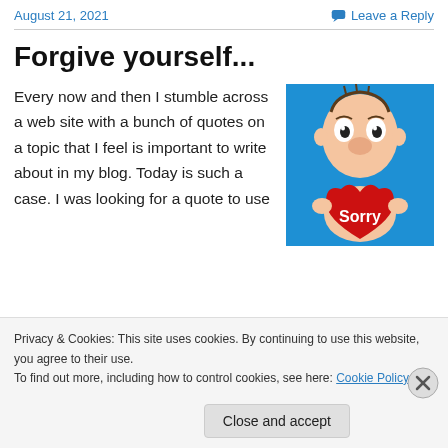August 21, 2021
Leave a Reply
Forgive yourself...
Every now and then I stumble across a web site with a bunch of quotes on a topic that I feel is important to write about in my blog. Today is such a case. I was looking for a quote to use
[Figure (illustration): Cartoon character holding a red heart with 'Sorry' written on it, on a blue background]
Privacy & Cookies: This site uses cookies. By continuing to use this website, you agree to their use.
To find out more, including how to control cookies, see here: Cookie Policy